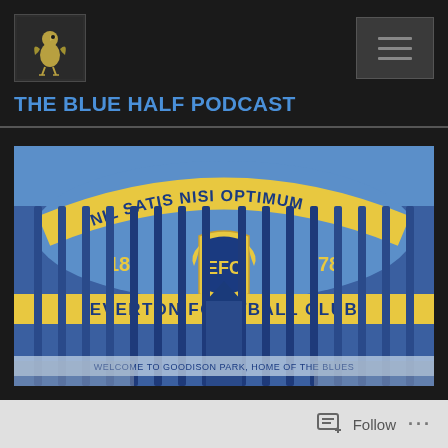[Figure (logo): Everton FC blue bird logo on dark background]
THE BLUE HALF PODCAST
[Figure (photo): Everton Football Club gates at Goodison Park showing 'Nil Satis Nisi Optimum' motto, 1878 founding year, EFC crest, and 'Welcome to Goodison Park, Home of the Blues' text on blue ornate gates]
Follow